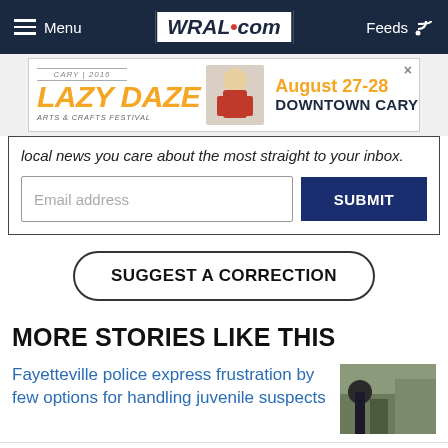Menu | WRAL.com | Feeds
[Figure (advertisement): Lazy Daze Arts & Crafts Festival ad, August 27-28, Downtown Cary]
local news you care about the most straight to your inbox.
Email address
SUBMIT
SUGGEST A CORRECTION
MORE STORIES LIKE THIS
Fayetteville police express frustration by few options for handling juvenile suspects
Charlotte man who disappeared